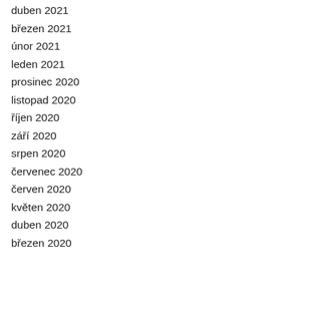duben 2021
březen 2021
únor 2021
leden 2021
prosinec 2020
listopad 2020
říjen 2020
září 2020
srpen 2020
červenec 2020
červen 2020
květen 2020
duben 2020
březen 2020